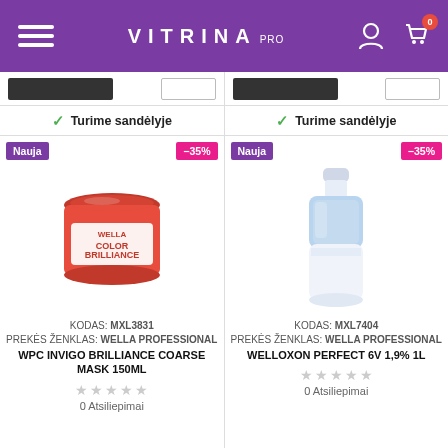VITRINA PRO
Turime sandėlyje | Turime sandėlyje
Nauja -35% | Nauja -35%
[Figure (photo): Wella Color Brilliance hair mask red jar 150ml]
[Figure (photo): Welloxon Perfect 6V 1.9% 1L bottle]
KODAS: MXL3831
PREKĖS ŽENKLAS: WELLA PROFESSIONAL
WPC INVIGO BRILLIANCE COARSE MASK 150ML
0 Atsiliepimai
KODAS: MXL7404
PREKĖS ŽENKLAS: WELLA PROFESSIONAL
WELLOXON PERFECT 6V 1,9% 1L
0 Atsiliepimai